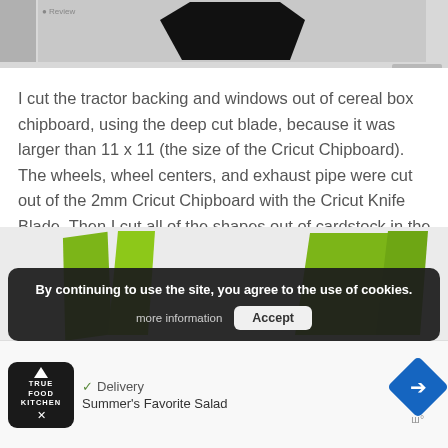[Figure (photo): Partial top of a webpage showing a screenshot/image of a Cricut design canvas with a dark silhouette shape visible]
I cut the tractor backing and windows out of cereal box chipboard, using the deep cut blade, because it was larger than 11 x 11 (the size of the Cricut Chipboard). The wheels, wheel centers, and exhaust pipe were cut out of the 2mm Cricut Chipboard with the Cricut Knife Blade. Then I cut all of the shapes out of cardstock in the color I needed.
[Figure (photo): Partial image showing green chipboard/cardstock pieces cut in tractor shapes against a light background]
By continuing to use the site, you agree to the use of cookies.
more information   Accept
[Figure (advertisement): True Food Kitchen ad banner with navigation arrow diamond icon, Delivery checkmark, and Summer's Favorite Salad text]